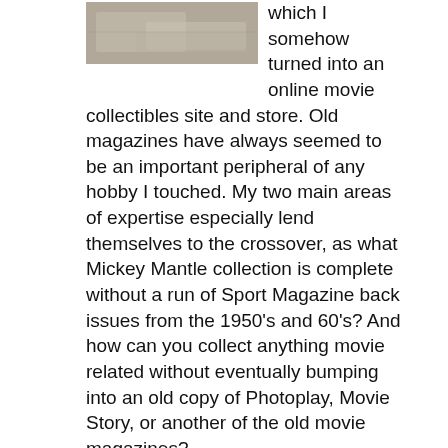[Figure (photo): Partial photograph of what appears to be a document or sign at a store/market setting, cropped at top of page]
which I somehow turned into an online movie collectibles site and store. Old magazines have always seemed to be an important peripheral of any hobby I touched. My two main areas of expertise especially lend themselves to the crossover, as what Mickey Mantle collection is complete without a run of Sport Magazine back issues from the 1950's and 60's? And how can you collect anything movie related without eventually bumping into an old copy of Photoplay, Movie Story, or another of the old movie magazines?
The main purpose of this site is to examine some of my favorite vintage magazines in detail. I will provide a history of some of the more collectible publications and compose checklists whenever it is both relevant to the collector and possible to do so.